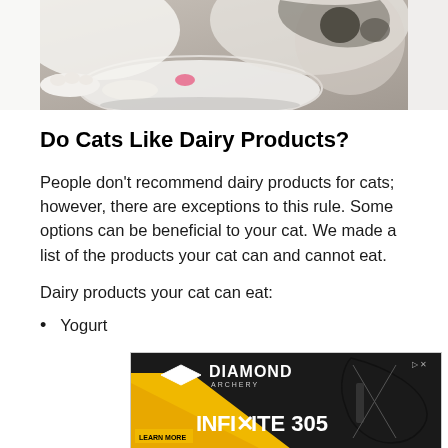[Figure (photo): A white cat licking from a white plate, close-up photo cropped at the top of the page]
Do Cats Like Dairy Products?
People don't recommend dairy products for cats; however, there are exceptions to this rule. Some options can be beneficial to your cat. We made a list of the products your cat can and cannot eat.
Dairy products your cat can eat:
Yogurt
[Figure (photo): Diamond Archery advertisement banner featuring the Infinite 305 compound bow with black background and yellow accent]